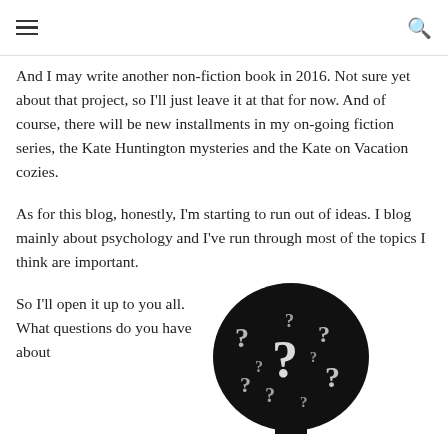≡  🔍
And I may write another non-fiction book in 2016. Not sure yet about that project, so I'll just leave it at that for now. And of course, there will be new installments in my on-going fiction series, the Kate Huntington mysteries and the Kate on Vacation cozies.
As for this blog, honestly, I'm starting to run out of ideas. I blog mainly about psychology and I've run through most of the topics I think are important.
So I'll open it up to you all. What questions do you have about
[Figure (illustration): A circular illustration of a head silhouette filled with question mark symbols, black and white style.]